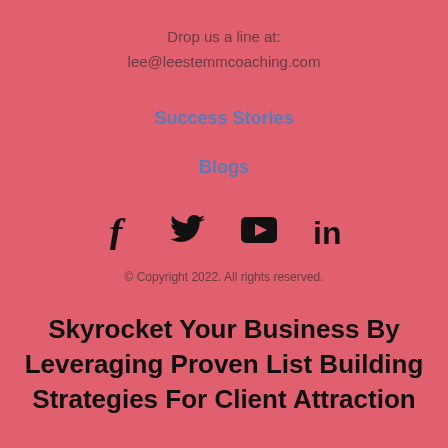Drop us a line at:
lee@leestemmcoaching.com
Success Stories
Blogs
[Figure (illustration): Social media icons: Facebook, Twitter, YouTube, LinkedIn]
© Copyright 2022. All rights reserved.
Skyrocket Your Business By Leveraging Proven List Building Strategies For Client Attraction